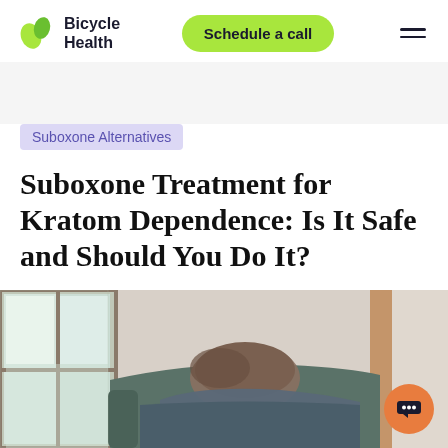Bicycle Health | Schedule a call
Suboxone Alternatives
Suboxone Treatment for Kratom Dependence: Is It Safe and Should You Do It?
[Figure (photo): A person lying on a couch or sofa, photographed from above or behind, with a window visible in the background letting in natural light.]